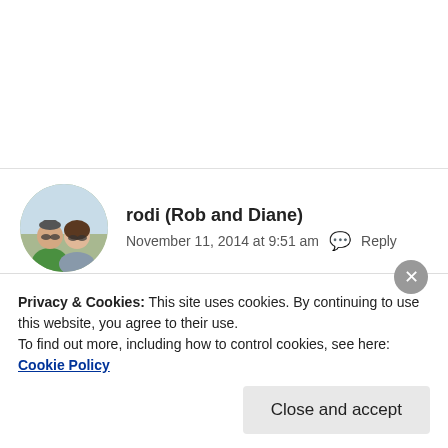[Figure (photo): Circular avatar photo of two people (Rob and Diane), a man and a woman, outdoors]
rodi (Rob and Diane)
November 11, 2014 at 9:51 am  Reply
Most excellent !! Someone older than me doing what I love and helping others stay in shape. I will follow you.
Privacy & Cookies: This site uses cookies. By continuing to use this website, you agree to their use.
To find out more, including how to control cookies, see here: Cookie Policy
Close and accept